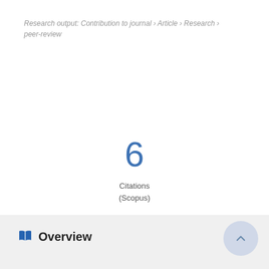Research output: Contribution to journal › Article › Research › peer-review
6 Citations (Scopus)
Overview